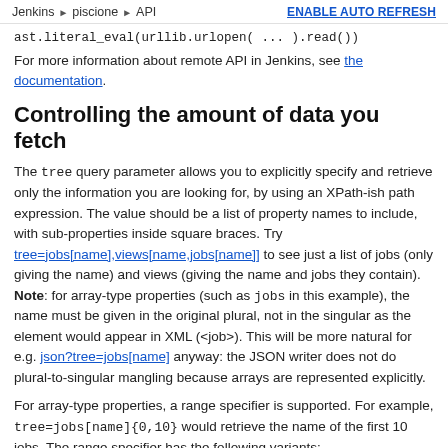Jenkins > piscione > API    ENABLE AUTO REFRESH
ast.literal_eval(urllib.urlopen( ... ).read())
For more information about remote API in Jenkins, see the documentation.
Controlling the amount of data you fetch
The tree query parameter allows you to explicitly specify and retrieve only the information you are looking for, by using an XPath-ish path expression. The value should be a list of property names to include, with sub-properties inside square braces. Try tree=jobs[name],views[name,jobs[name]] to see just a list of jobs (only giving the name) and views (giving the name and jobs they contain). Note: for array-type properties (such as jobs in this example), the name must be given in the original plural, not in the singular as the element would appear in XML (<job>). This will be more natural for e.g. json?tree=jobs[name] anyway: the JSON writer does not do plural-to-singular mangling because arrays are represented explicitly.
For array-type properties, a range specifier is supported. For example, tree=jobs[name]{0,10} would retrieve the name of the first 10 jobs. The range specifier has the following variants:
{M,N}: From the M-th element (inclusive) to the N-th element (exclusive).